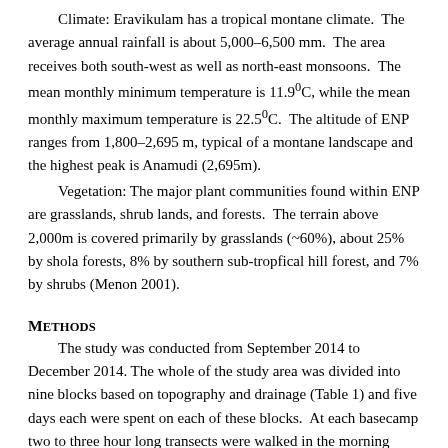Climate: Eravikulam has a tropical montane climate. The average annual rainfall is about 5,000–6,500 mm. The area receives both south-west as well as north-east monsoons. The mean monthly minimum temperature is 11.9°C, while the mean monthly maximum temperature is 22.5°C. The altitude of ENP ranges from 1,800–2,695 m, typical of a montane landscape and the highest peak is Anamudi (2,695m).
Vegetation: The major plant communities found within ENP are grasslands, shrub lands, and forests. The terrain above 2,000m is covered primarily by grasslands (~60%), about 25% by shola forests, 8% by southern sub-tropfical hill forest, and 7% by shrubs (Menon 2001).
Methods
The study was conducted from September 2014 to December 2014. The whole of the study area was divided into nine blocks based on topography and drainage (Table 1) and five days each were spent on each of these blocks. At each basecamp two to three hour long transects were walked in the morning from 10:00–13:00 hr. No afternoon transects could be done because of the unfavourable weather conditions, such as mist, cloud and northeastern monsoon rains. During these transect walks, the butterflies were identified to the species level and the number